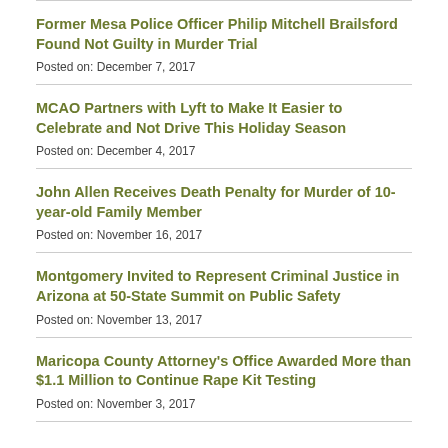Former Mesa Police Officer Philip Mitchell Brailsford Found Not Guilty in Murder Trial
Posted on: December 7, 2017
MCAO Partners with Lyft to Make It Easier to Celebrate and Not Drive This Holiday Season
Posted on: December 4, 2017
John Allen Receives Death Penalty for Murder of 10-year-old Family Member
Posted on: November 16, 2017
Montgomery Invited to Represent Criminal Justice in Arizona at 50-State Summit on Public Safety
Posted on: November 13, 2017
Maricopa County Attorney's Office Awarded More than $1.1 Million to Continue Rape Kit Testing
Posted on: November 3, 2017